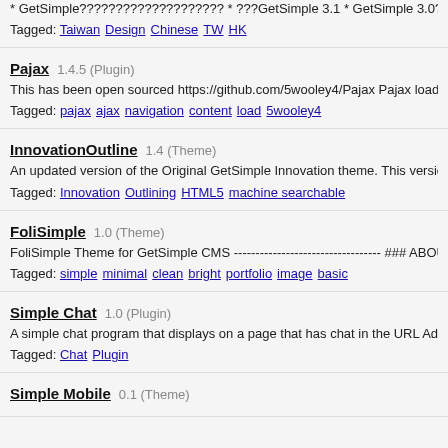* GetSimple???????????????????? * ???GetSimple 3.1 * GetSimple 3.0????????[Tradi
Tagged: Taiwan Design Chinese TW HK
Pajax   1.4.5 (Plugin)
This has been open sourced https://github.com/5wooley4/Pajax Pajax loads content throu
Tagged: pajax ajax navigation content load 5wooley4
InnovationOutline   1.4 (Theme)
An updated version of the Original GetSimple Innovation theme. This version allows for be
Tagged: Innovation Outlining HTML5 machine searchable
FoliSimple   1.0 (Theme)
FoliSimple Theme for GetSimple CMS ---------------------------------- ### ABOUT A simple and
Tagged: simple minimal clean bright portfolio image basic
Simple Chat   1.0 (Plugin)
A simple chat program that displays on a page that has chat in the URL Admin can delete e
Tagged: Chat Plugin
Simple Mobile   0.1 (Theme)